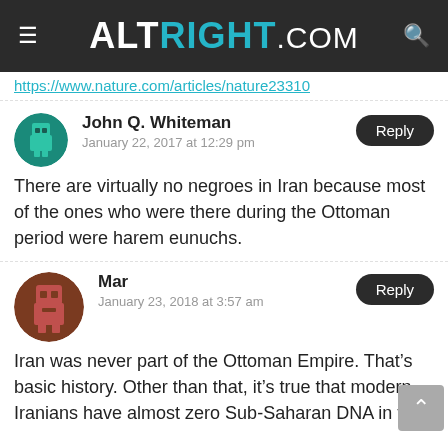ALTRIGHT.COM
https://www.nature.com/articles/nature23310
John Q. Whiteman
January 22, 2017 at 12:29 pm
There are virtually no negroes in Iran because most of the ones who were there during the Ottoman period were harem eunuchs.
Mar
January 23, 2018 at 3:57 am
Iran was never part of the Ottoman Empire. That's basic history. Other than that, it's true that modern Iranians have almost zero Sub-Saharan DNA in their